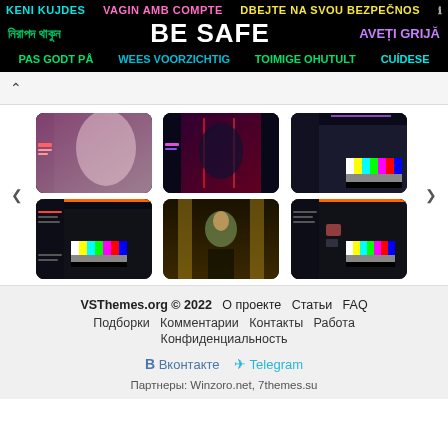[Figure (screenshot): Safety banner with multilingual text: KENI KUJDES, VAGIN AMB COMPTE, DBEJTE NA SVOU BEZPEČNOST, Bengali text, BE SAFE, AVEȚI GRIJĂ, PAS GODT PÅ, WEES VOORZICHTIG, TOIMIGE OHUTULT, CUÍDESE]
[Figure (screenshot): Gallery of 6 thumbnail images in 2 rows of 3, showing anime/illustration artwork and streaming UI screenshots, with left/right navigation arrows]
VSThemes.org © 2022   О проекте   Статьи   FAQ
Подборки   Комментарии   Контакты   Работа
Конфиденциальность
ВКонтакте   Telegram
Партнеры: Winzoro.net, 7themes.su